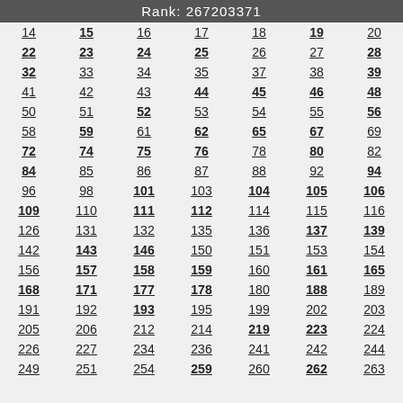Rank: 267203371
| 14 | 15 | 16 | 17 | 18 | 19 | 20 |
| 22 | 23 | 24 | 25 | 26 | 27 | 28 |
| 32 | 33 | 34 | 35 | 37 | 38 | 39 |
| 41 | 42 | 43 | 44 | 45 | 46 | 48 |
| 50 | 51 | 52 | 53 | 54 | 55 | 56 |
| 58 | 59 | 61 | 62 | 65 | 67 | 69 |
| 72 | 74 | 75 | 76 | 78 | 80 | 82 |
| 84 | 85 | 86 | 87 | 88 | 92 | 94 |
| 96 | 98 | 101 | 103 | 104 | 105 | 106 |
| 109 | 110 | 111 | 112 | 114 | 115 | 116 |
| 126 | 131 | 132 | 135 | 136 | 137 | 139 |
| 142 | 143 | 146 | 150 | 151 | 153 | 154 |
| 156 | 157 | 158 | 159 | 160 | 161 | 165 |
| 168 | 171 | 177 | 178 | 180 | 188 | 189 |
| 191 | 192 | 193 | 195 | 199 | 202 | 203 |
| 205 | 206 | 212 | 214 | 219 | 223 | 224 |
| 226 | 227 | 234 | 236 | 241 | 242 | 244 |
| 249 | 251 | 254 | 259 | 260 | 262 | 263 |